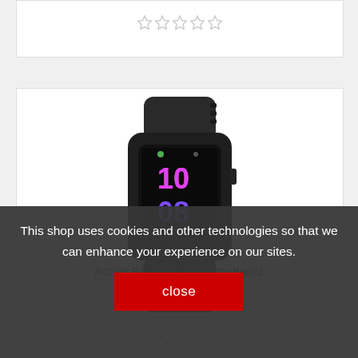[Figure (screenshot): Partial top product card with star rating row, cut off at top of page]
[Figure (photo): Black fitness/activity smart band (KSIX HealthyBand2 HR) showing colorful display with time 10:08, photographed on white background]
This shop uses cookies and other technologies so that we can enhance your experience on our sites.
Activity Bangle KSIX HealthyBand2 HR 0,96" OLED
[Figure (screenshot): Red close button with white text reading 'close']
[Figure (screenshot): Partial star rating row at bottom of page, cut off]